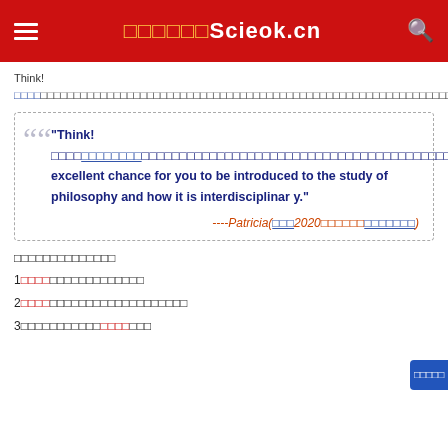□□□□□□Scieok.cn
Think!□□□□□□□□□□□□□□□□□□□□□□□□□□□□□□□□□□□□□□□□□□□□□□□□□□□□□□□□□□□□□□□□□□□□□□□□□□□□□□□□□□□□□□□□□□□□□□□□□□□□□□□□□□□□□□□□□□□□□□
"Think!□□□□□□□□□□□□□□□□□□□□□□□□□□□□□□□□□□□□□□□□□□□□□□□□□□□□□□□□□□□□□□□□□□□□□□□□□□□□□□□□□□□□□An excellent chance for you to be introduced to the study of philosophy and how it is interdisciplinary." ----Patricia(□□□2020□□□□□□□□□□□□□)
□□□□□□□□□□□□□□
1□□□□□□□□□□□□□□□□□
2□□□□□□□□□□□□□□□□□□□□□□□
3□□□□□□□□□□□□□□□□□□